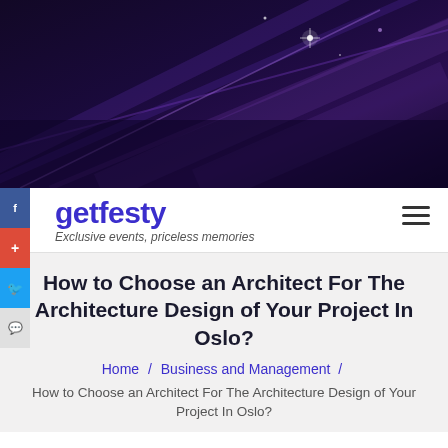[Figure (photo): Dark purple abstract hero banner with diagonal light streaks and sparkles on a deep navy/purple gradient background]
getfesty
Exclusive events, priceless memories
How to Choose an Architect For The Architecture Design of Your Project In Oslo?
Home / Business and Management /
How to Choose an Architect For The Architecture Design of Your Project In Oslo?